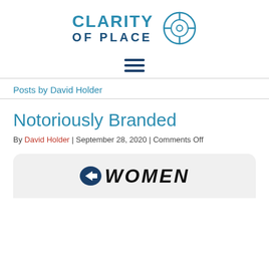[Figure (logo): Clarity of Place logo with crosshair/target icon in teal/blue colors]
[Figure (other): Hamburger menu icon (three horizontal dark blue lines)]
Posts by David Holder
Notoriously Branded
By David Holder | September 28, 2020 | Comments Off
[Figure (photo): Article thumbnail image showing a Women's logo on a light gray rounded background]